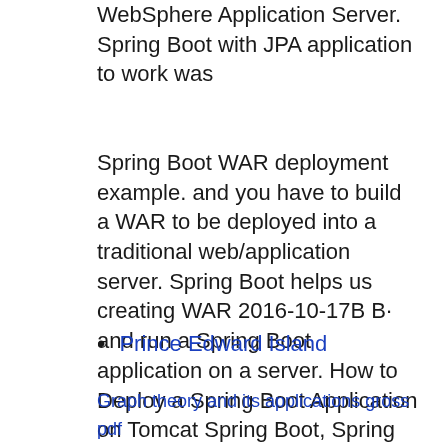WebSphere Application Server. Spring Boot with JPA application to work was
Spring Boot WAR deployment example. and you have to build a WAR to be deployed into a traditional web/application server. Spring Boot helps us creating WAR 2016-10-17B B· and run a Spring Boot application on a server. How to Deploy a Spring Boot Application on Tomcat Spring Boot, Spring MVC using Maven and
Prince Edward Island
Graph theory and its applications gross pdf
Cows ice cream job application